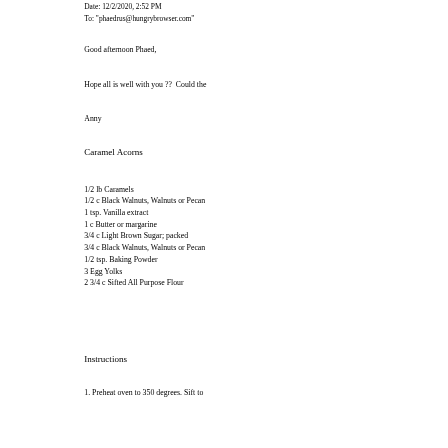Date: 12/2/2020, 2:52 PM
To: "phaedrus@hungrybrowser.com"
Good afternoon Phaed,
Hope all is well with you ??  Could the
Anny
Caramel Acorns
1/2 lb Caramels
1/2 c Black Walnuts, Walnuts or Pecan
1 tsp. Vanilla extract
1 c Butter or margarine
3/4 c Light Brown Sugar; packed
3/4 c Black Walnuts, Walnuts or Pecan
1/2 tsp. Baking Powder
3 Egg Yolks
2 3/4 c Sifted All Purpose Flour
Instructions
1. Preheat oven to 350 degrees. Sift to